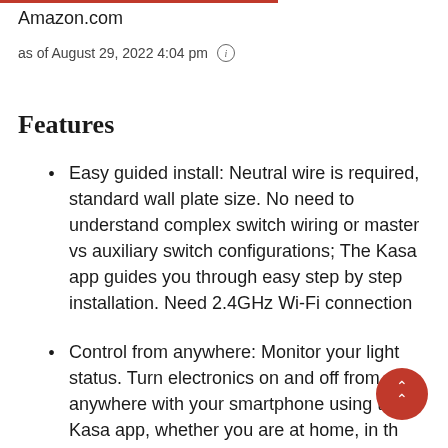Amazon.com
as of August 29, 2022 4:04 pm ⓘ
Features
Easy guided install: Neutral wire is required, standard wall plate size. No need to understand complex switch wiring or master vs auxiliary switch configurations; The Kasa app guides you through easy step by step installation. Need 2.4GHz Wi-Fi connection
Control from anywhere: Monitor your light status. Turn electronics on and off from anywhere with your smartphone using the Kasa app, whether you are at home, in the office or on vacation.